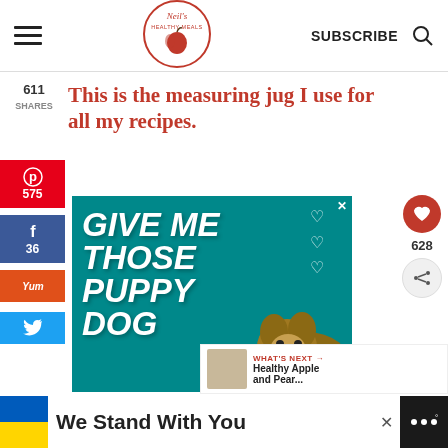[Figure (logo): Neil's Healthy Meals logo — circular red-outlined logo with apple graphic]
SUBSCRIBE
611 SHARES
This is the measuring jug I use for all my recipes.
[Figure (screenshot): Advertisement on teal background reading GIVE ME THOSE PUPPY DOG with a bulldog photo and heart graphics]
WHAT'S NEXT → Healthy Apple and Pear...
[Figure (screenshot): We Stand With You — bottom banner ad with Ukrainian flag colors]